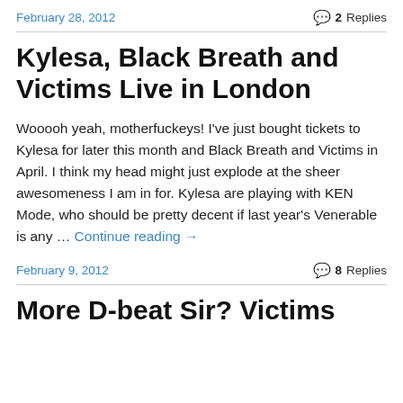February 28, 2012   2 Replies
Kylesa, Black Breath and Victims Live in London
Wooooh yeah, motherfuckeys! I've just bought tickets to Kylesa for later this month and Black Breath and Victims in April. I think my head might just explode at the sheer awesomeness I am in for. Kylesa are playing with KEN Mode, who should be pretty decent if last year's Venerable is any … Continue reading →
February 9, 2012   8 Replies
More D-beat Sir? Victims